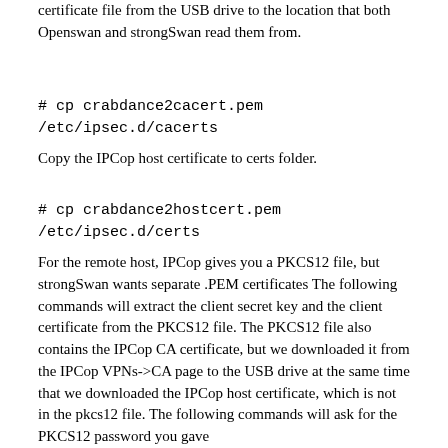certificate file from the USB drive to the location that both Openswan and strongSwan read them from.
# cp crabdance2cacert.pem /etc/ipsec.d/cacerts
Copy the IPCop host certificate to certs folder.
# cp crabdance2hostcert.pem /etc/ipsec.d/certs
For the remote host, IPCop gives you a PKCS12 file, but strongSwan wants separate .PEM certificates The following commands will extract the client secret key and the client certificate from the PKCS12 file. The PKCS12 file also contains the IPCop CA certificate, but we downloaded it from the IPCop VPNs->CA page to the USB drive at the same time that we downloaded the IPCop host certificate, which is not in the pkcs12 file. The following commands will ask for the PKCS12 password you gave